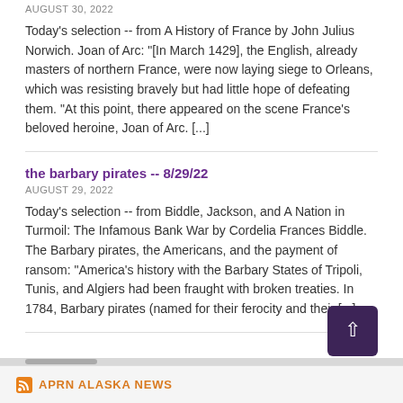Today's selection -- from A History of France by John Julius Norwich. Joan of Arc: "[In March 1429], the English, already masters of northern France, were now laying siege to Orleans, which was resisting bravely but had little hope of defeating them. "At this point, there appeared on the scene France's beloved heroine, Joan of Arc. [...]
the barbary pirates -- 8/29/22
AUGUST 29, 2022
Today's selection -- from Biddle, Jackson, and A Nation in Turmoil: The Infamous Bank War by Cordelia Frances Biddle. The Barbary pirates, the Americans, and the payment of ransom: "America's history with the Barbary States of Tripoli, Tunis, and Algiers had been fraught with broken treaties. In 1784, Barbary pirates (named for their ferocity and their [...]
APRN ALASKA NEWS